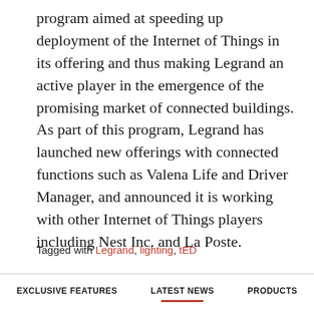program aimed at speeding up deployment of the Internet of Things in its offering and thus making Legrand an active player in the emergence of the promising market of connected buildings. As part of this program, Legrand has launched new offerings with connected functions such as Valena Life and Driver Manager, and announced it is working with other Internet of Things players including Nest Inc. and La Poste.
Tagged with Legrand, lighting, tED
EXCLUSIVE FEATURES | LATEST NEWS | PRODUCTS